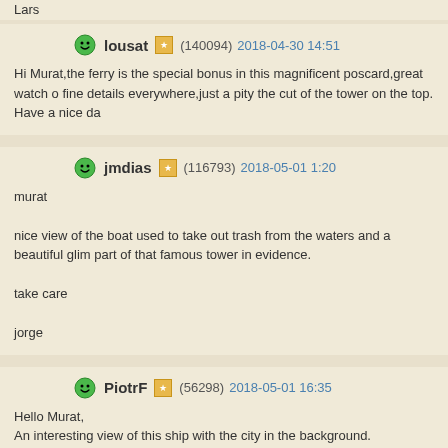Lars
lousat (140094) 2018-04-30 14:51
Hi Murat,the ferry is the special bonus in this magnificent poscard,great watch o fine details everywhere,just a pity the cut of the tower on the top. Have a nice da
jmdias (116793) 2018-05-01 1:20
murat

nice view of the boat used to take out trash from the waters and a beautiful glim part of that famous tower in evidence.

take care

jorge
PiotrF (56298) 2018-05-01 16:35
Hello Murat,
An interesting view of this ship with the city in the background.
I like fine composition and excellent colors.
Thank you for informative note.
Fine presentation